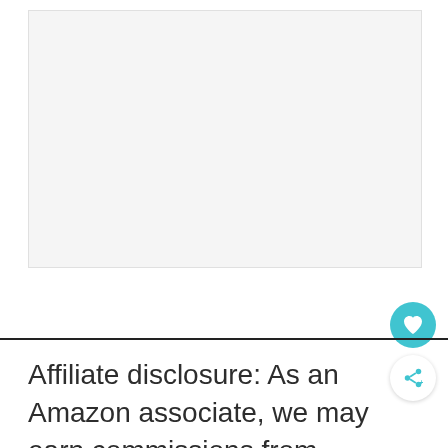[Figure (other): Light gray rectangular placeholder image area with border]
Affiliate disclosure: As an Amazon associate, we may earn commissions from qualifying